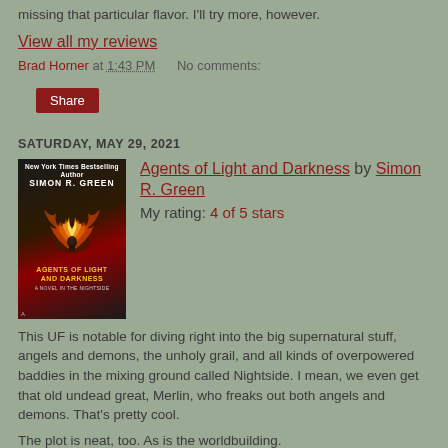missing that particular flavor. I'll try more, however.
View all my reviews
Brad Horner at 1:43 PM   No comments:
Share
SATURDAY, MAY 29, 2021
[Figure (photo): Book cover: Agents of Light and Darkness by Simon R. Green. Dark cover with flames forming a winged shape and a figure silhouetted in front.]
Agents of Light and Darkness by Simon R. Green
My rating: 4 of 5 stars
This UF is notable for diving right into the big supernatural stuff, angels and demons, the unholy grail, and all kinds of overpowered baddies in the mixing ground called Nightside. I mean, we even get that old undead great, Merlin, who freaks out both angels and demons. That's pretty cool.
The plot is neat, too. As is the worldbuilding.